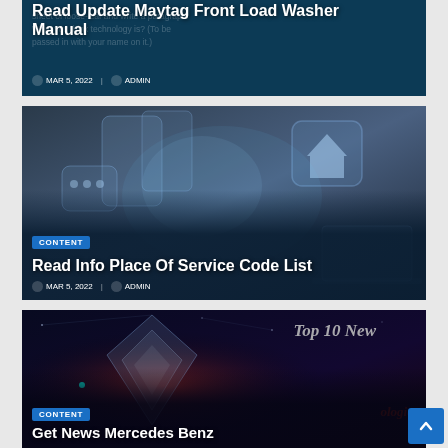[Figure (screenshot): Blog card with dark blue background showing 'Read Update Maytag Front Load Washer Manual' title with date and author meta]
Read Update Maytag Front Load Washer Manual
MAR 5, 2022   ADMIN
[Figure (screenshot): Blog card with technology/smartphone floating icons background showing 'CONTENT' badge and 'Read Info Place Of Service Code List' title]
CONTENT
Read Info Place Of Service Code List
MAR 5, 2022   ADMIN
[Figure (screenshot): Blog card with dark space/diamond geometric background showing 'CONTENT' badge, 'Get News Mercedes Benz' title, and 'Top 10 New' text]
CONTENT
Get News Mercedes Benz
Top 10 New